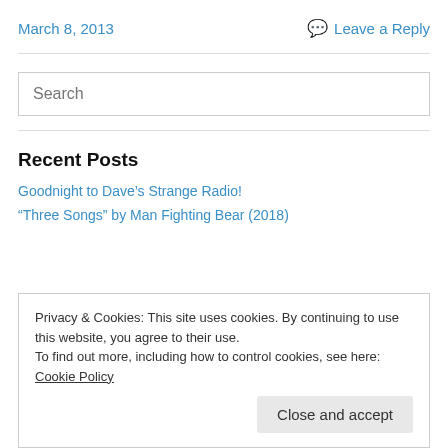March 8, 2013
Leave a Reply
Search
Recent Posts
Goodnight to Dave's Strange Radio!
“Three Songs” by Man Fighting Bear (2018)
Privacy & Cookies: This site uses cookies. By continuing to use this website, you agree to their use.
To find out more, including how to control cookies, see here: Cookie Policy
Close and accept